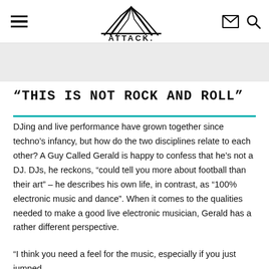ATTACK. [navigation header with hamburger menu, logo, email and search icons]
“THIS IS NOT ROCK AND ROLL”
DJing and live performance have grown together since techno’s infancy, but how do the two disciplines relate to each other? A Guy Called Gerald is happy to confess that he’s not a DJ. DJs, he reckons, “could tell you more about football than their art” – he describes his own life, in contrast, as “100% electronic music and dance”. When it comes to the qualities needed to make a good live electronic musician, Gerald has a rather different perspective.
“I think you need a feel for the music, especially if you just jumped